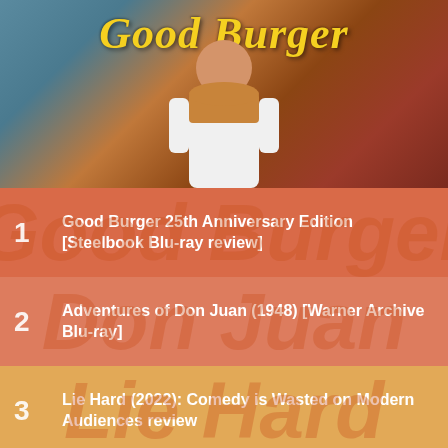[Figure (photo): Good Burger movie promotional image with person wearing apron, title 'Good Burger' in yellow italic script at top]
1 Good Burger 25th Anniversary Edition [Steelbook Blu-ray review]
2 Adventures of Don Juan (1948) [Warner Archive Blu-ray]
3 Lie Hard (2022): Comedy is Wasted on Modern Audiences review
4 The Frisco Kid (1979) Warner Archive Blu-ray review